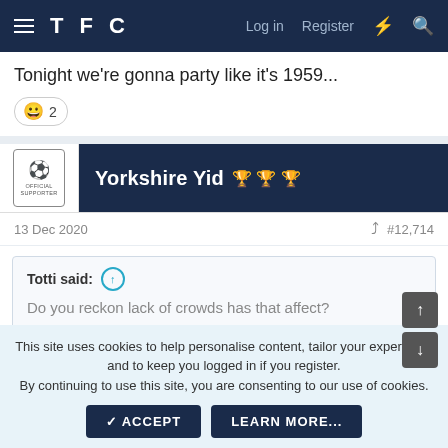TFC — Log in  Register
Tonight we're gonna party like it's 1959...
😀 2
Yorkshire Yid 🏆🏆🏆
13 Dec 2020  #12,714
Totti said:
Do you reckon lack of crowds has that affect?
I think so I don't think it's a fluke that Palace and
This site uses cookies to help personalise content, tailor your experience and to keep you logged in if you register.
By continuing to use this site, you are consenting to our use of cookies.
✓ ACCEPT   LEARN MORE...